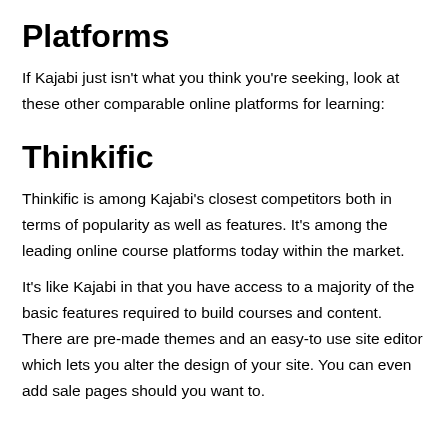Platforms
If Kajabi just isn't what you think you're seeking, look at these other comparable online platforms for learning:
Thinkific
Thinkific is among Kajabi's closest competitors both in terms of popularity as well as features. It's among the leading online course platforms today within the market.
It's like Kajabi in that you have access to a majority of the basic features required to build courses and content. There are pre-made themes and an easy-to use site editor which lets you alter the design of your site. You can even add sale pages should you want to.